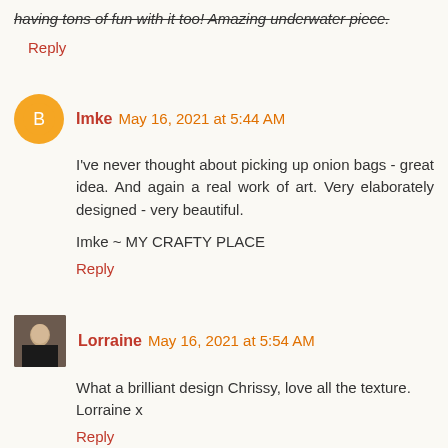having tons of fun with it too! Amazing underwater piece.
Reply
Imke  May 16, 2021 at 5:44 AM
I've never thought about picking up onion bags - great idea. And again a real work of art. Very elaborately designed - very beautiful.
Imke ~ MY CRAFTY PLACE
Reply
Lorraine  May 16, 2021 at 5:54 AM
What a brilliant design Chrissy, love all the texture. Lorraine x
Reply
Kelly Schelske  May 16, 2021 at 4:24 PM